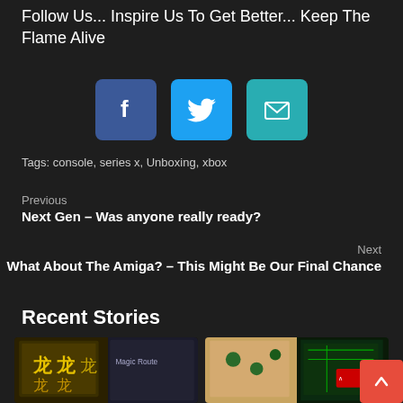Follow Us... Inspire Us To Get Better... Keep The Flame Alive
[Figure (infographic): Three social media icons: Facebook (blue), Twitter (light blue), Email/envelope (teal)]
Tags: console, series x, Unboxing, xbox
Previous
Next Gen – Was anyone really ready?
Next
What About The Amiga? – This Might Be Our Final Chance
Recent Stories
[Figure (screenshot): Two thumbnail images for recent stories articles at bottom of page]